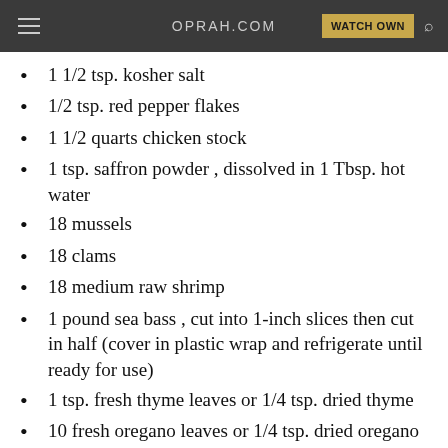OPRAH.COM
1 1/2 tsp. kosher salt
1/2 tsp. red pepper flakes
1 1/2 quarts chicken stock
1 tsp. saffron powder , dissolved in 1 Tbsp. hot water
18 mussels
18 clams
18 medium raw shrimp
1 pound sea bass , cut into 1-inch slices then cut in half (cover in plastic wrap and refrigerate until ready for use)
1 tsp. fresh thyme leaves or 1/4 tsp. dried thyme
10 fresh oregano leaves or 1/4 tsp. dried oregano
1/2 cup packed Italian parsley , chopped coarsely
8 ounces linguine , made with Semolina flour